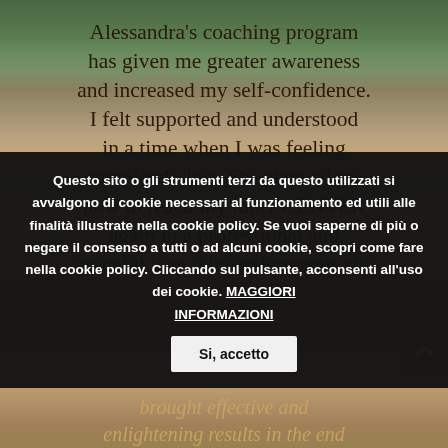Alessandra's coaching program has given me greater awareness and increased my self-confidence. I felt supported and understood in a time when I was feeling completely lost. She showed me how to reach my inner CENTER again in a professional and graceful way. The assignments she
Questo sito o gli strumenti terzi da questo utilizzati si avvalgono di cookie necessari al funzionamento ed utili alle finalità illustrate nella cookie policy. Se vuoi saperne di più o negare il consenso a tutti o ad alcuni cookie, scopri come fare nella cookie policy. Cliccando sul pulsante, acconsenti all'uso dei cookie. MAGGIORI INFORMAZIONI    Si, accetto
brought effective and enlightening results in the end